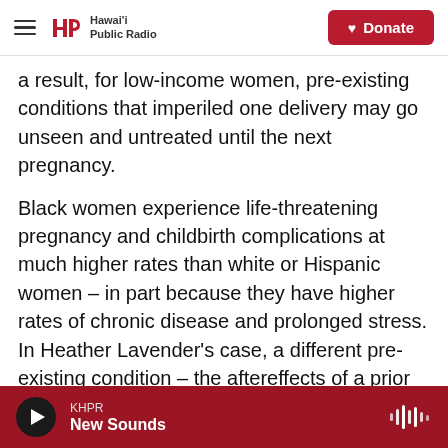Hawai'i Public Radio | Donate
a result, for low-income women, pre-existing conditions that imperiled one delivery may go unseen and untreated until the next pregnancy.
Black women experience life-threatening pregnancy and childbirth complications at much higher rates than white or Hispanic women – in part because they have higher rates of chronic disease and prolonged stress. In Heather Lavender's case, a different pre-existing condition – the aftereffects of a prior surgery – may have been a factor in her life-threatening complication.
A critical care nurse at Johns Hopkins Hospital in
KHPR New Sounds